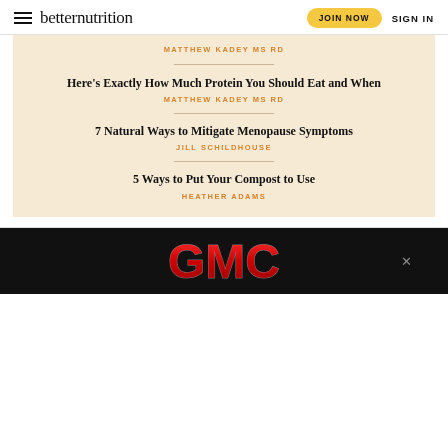betternutrition | JOIN NOW | SIGN IN
MATTHEW KADEY MS RD
Here's Exactly How Much Protein You Should Eat and When
MATTHEW KADEY MS RD
7 Natural Ways to Mitigate Menopause Symptoms
JILL SCHILDHOUSE
5 Ways to Put Your Compost to Use
HEATHER ADAMS
[Figure (logo): GMC logo advertisement banner on black background]